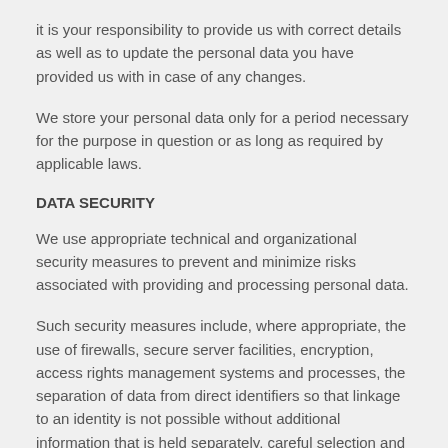it is your responsibility to provide us with correct details as well as to update the personal data you have provided us with in case of any changes.
We store your personal data only for a period necessary for the purpose in question or as long as required by applicable laws.
DATA SECURITY
We use appropriate technical and organizational security measures to prevent and minimize risks associated with providing and processing personal data.
Such security measures include, where appropriate, the use of firewalls, secure server facilities, encryption, access rights management systems and processes, the separation of data from direct identifiers so that linkage to an identity is not possible without additional information that is held separately, careful selection and limitation of processors, sufficient training of those involved in the processing, and other necessary